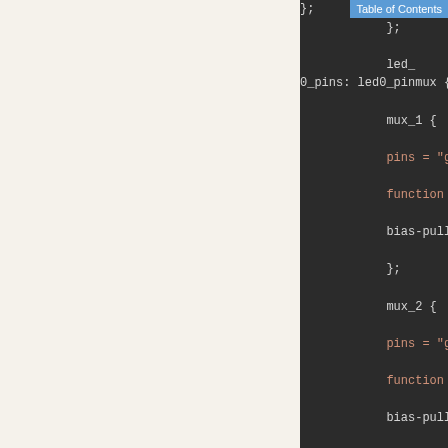[Figure (screenshot): Dark-themed code editor screenshot showing device tree / pinmux configuration code. Visible code includes: }; on first line, }; on second line, led_ text, 0_pins: led0_pinmux { block containing mux_1 { block with pins = "gpio36"; function = "led0"; bias-pull-down; }; and mux_2 { block with pins = "gpio40"; function = "led4"; bias-pull-down;]
Table of Contents